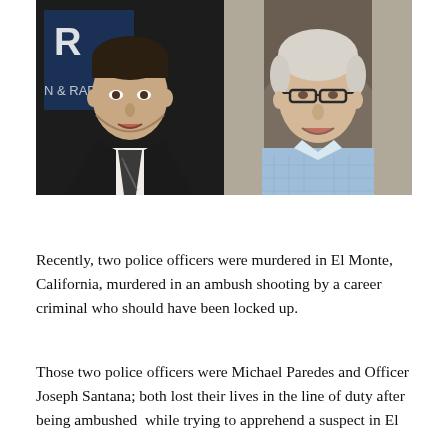[Figure (photo): Two side-by-side photos: left shows a middle-aged man with dark hair wearing a black suit and striped tie against a backdrop with text 'R' and 'N & RAD'; right shows an older man with white/silver hair wearing glasses and a light blue checkered shirt, standing in front of an arched doorway.]
Recently, two police officers were murdered in El Monte, California, murdered in an ambush shooting by a career criminal who should have been locked up.
Those two police officers were Michael Paredes and Officer Joseph Santana; both lost their lives in the line of duty after being ambushed  while trying to apprehend a suspect in El